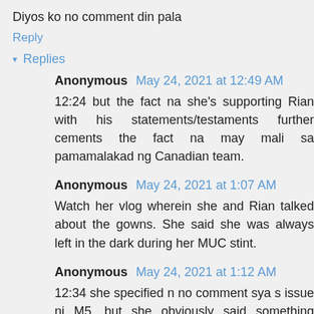Diyos ko no comment din pala
Reply
▾ Replies
Anonymous May 24, 2021 at 12:49 AM
12:24 but the fact na she's supporting Rian with his statements/testaments further cements the fact na may mali sa pamamalakad ng Canadian team.
Anonymous May 24, 2021 at 1:07 AM
Watch her vlog wherein she and Rian talked about the gowns. She said she was always left in the dark during her MUC stint.
Anonymous May 24, 2021 at 1:12 AM
12:34 she specified n no comment sya s issue ni M5. but she obviously said something against the